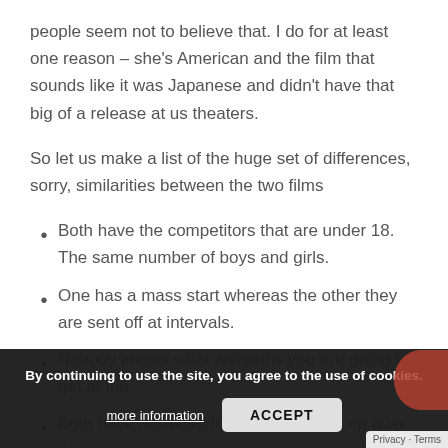people seem not to believe that. I do for at least one reason – she's American and the film that sounds like it was Japanese and didn't have that big of a release at us theaters.
So let us make a list of the huge set of differences, sorry, similarities between the two films
Both have the competitors that are under 18. The same number of boys and girls.
One has a mass start whereas the other they are sent off at intervals.
Nobody knows what weapons you are going to get at the
Both have alliances formed that break up over time.
By continuing to use the site, you agree to the use of cookies.
more information
ACCEPT